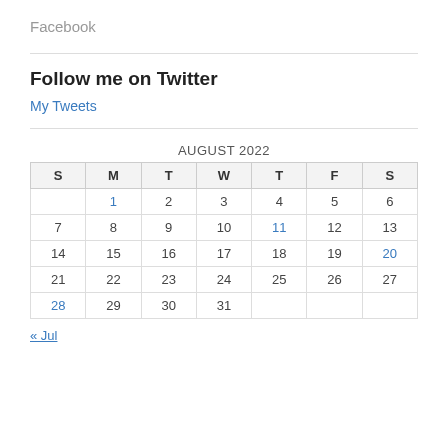Facebook
Follow me on Twitter
My Tweets
| S | M | T | W | T | F | S |
| --- | --- | --- | --- | --- | --- | --- |
|  | 1 | 2 | 3 | 4 | 5 | 6 |
| 7 | 8 | 9 | 10 | 11 | 12 | 13 |
| 14 | 15 | 16 | 17 | 18 | 19 | 20 |
| 21 | 22 | 23 | 24 | 25 | 26 | 27 |
| 28 | 29 | 30 | 31 |  |  |  |
« Jul